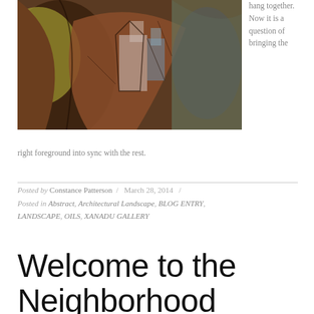[Figure (illustration): Abstract painting with earthy tones — browns, yellows, greens and blues — depicting an architectural or figurative landscape scene.]
hang together. Now it is a question of bringing the right foreground into sync with the rest.
Posted by Constance Patterson / March 28, 2014 / Posted in Abstract, Architectural Landscape, BLOG ENTRY, LANDSCAPE, OILS, XANADU GALLERY
Welcome to the Neighborhood